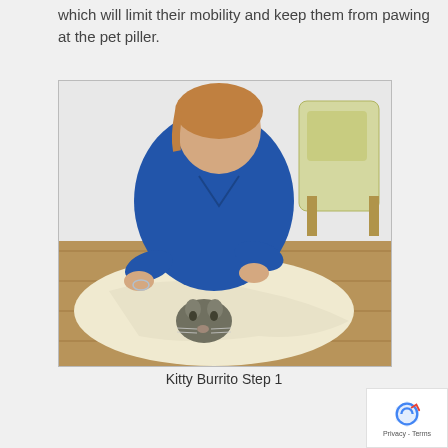which will limit their mobility and keep them from pawing at the pet piller.
[Figure (photo): A woman in blue scrubs kneeling on a wooden floor, wrapping a cat in a white blanket/towel using the 'Kitty Burrito' technique. A yellow chair is visible in the background.]
Kitty Burrito Step 1
[Figure (photo): Partial view of a second photo showing a person's head/face from above, beginning of next step illustration.]